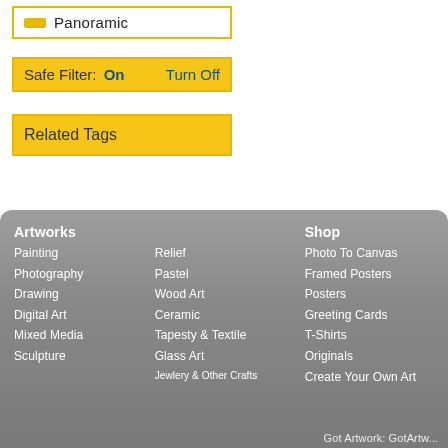Panoramic
Safe Filter: On   Turn Off
Related Tags
Artworks
Painting
Photography
Drawing
Digital Art
Mixed Media
Sculpture
Relief
Pastel
Wood Art
Ceramic
Tapesty & Textile
Glass Art
Jewlery & Other Crafts
Shop
Photo To Canvas
Framed Posters
Posters
Greeting Cards
T-Shirts
Originals
Create Your Own Art
Got Artwork: GotArtw...